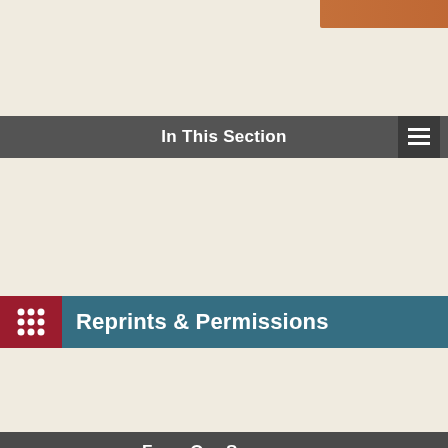[Figure (photo): Top decorative image strip in brown/terracotta tones]
In This Section
Reprints & Permissions
From Our Sponsors
[Figure (infographic): Sponsor advertisement with dark grey swirling background. Text reads 'See our latest in Anthropology' with a 'BROWSE NOW' button and dark red bottom bar.]